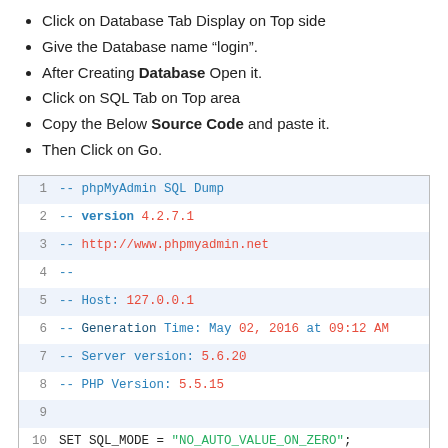Click on Database Tab Display on Top side
Give the Database name “login”.
After Creating Database Open it.
Click on SQL Tab on Top area
Copy the Below Source Code and paste it.
Then Click on Go.
[Figure (screenshot): Code block showing phpMyAdmin SQL Dump with line numbers 1-13. Lines 1-8 are SQL comments (--) with metadata. Lines 10-11 are SET statements. Lines 9, 12, 13 are blank.]